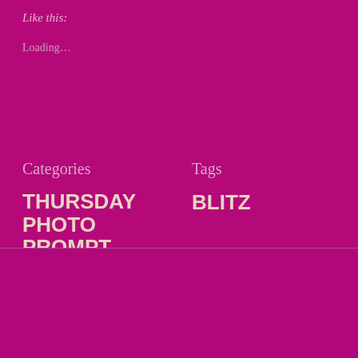Like this:
Loading...
Categories
Tags
THURSDAY PHOTO PROMPT
BLITZ
Challenge Your Camera #10 Close Up
PREVIOUS
#SoCS March 13, 2021 – last year